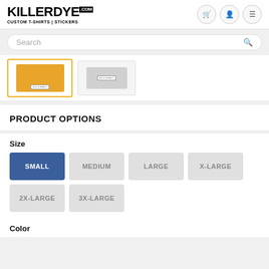[Figure (logo): KILLERDYE.COM logo with tagline CUSTOM T-SHIRTS | STICKERS]
[Figure (screenshot): Product thumbnail images: one selected with yellow border showing golden t-shirt, one unselected showing grey t-shirt]
PRODUCT OPTIONS
Size
SMALL (selected)
MEDIUM
LARGE
X-LARGE
2X-LARGE
3X-LARGE
Color